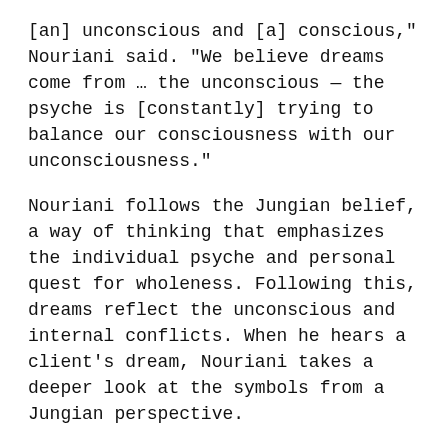[an] unconscious and [a] conscious," Nouriani said. "We believe dreams come from … the unconscious — the psyche is [constantly] trying to balance our consciousness with our unconsciousness."
Nouriani follows the Jungian belief, a way of thinking that emphasizes the individual psyche and personal quest for wholeness. Following this, dreams reflect the unconscious and internal conflicts. When he hears a client's dream, Nouriani takes a deeper look at the symbols from a Jungian perspective.
"Jungians have an amplification method in which we go beyond the symbols and try to apply what we know about mythology and fairytales and culture," Nouriani said. "So, for example, the dog [symbol] can have different striations in fairytales — they keep a guard